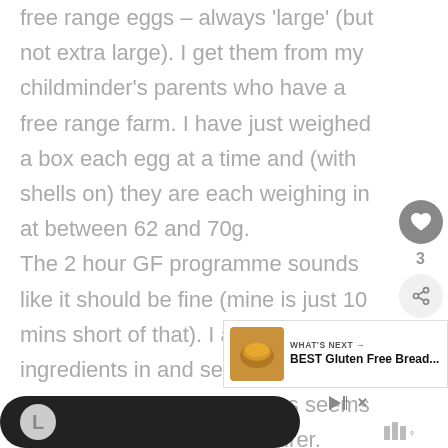free range eggs – always 'large' (but not extra large). I get them from my childminder's parents who have a free range farm. I have just weighed a box each egg at a time and (with shells on) they are each weighing in at between 62 and 70g. The 2 hour GF programme sounds like it should be fine (mine is just 10 mins short of that). I always put the ingredients in and set to go straight away with no timer-delay (as seems to be advised by manufacturer.
[Figure (other): Advertisement overlay showing 'WHAT'S NEXT → BEST Gluten Free Bread...' with a bread image thumbnail, play and close buttons]